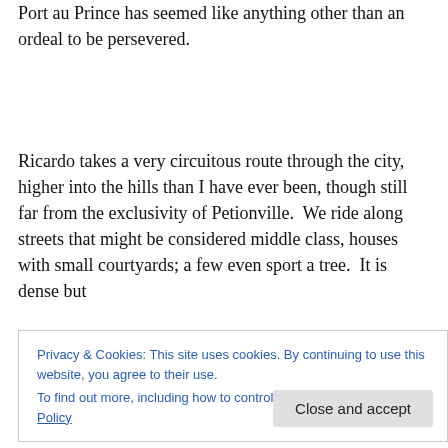Port au Prince has seemed like anything other than an ordeal to be persevered.
Ricardo takes a very circuitous route through the city, higher into the hills than I have ever been, though still far from the exclusivity of Petionville.  We ride along streets that might be considered middle class, houses with small courtyards; a few even sport a tree.  It is dense but
Privacy & Cookies: This site uses cookies. By continuing to use this website, you agree to their use.
To find out more, including how to control cookies, see here: Cookie Policy
raked, the trees in leaf.  Where rows of port-a-potties